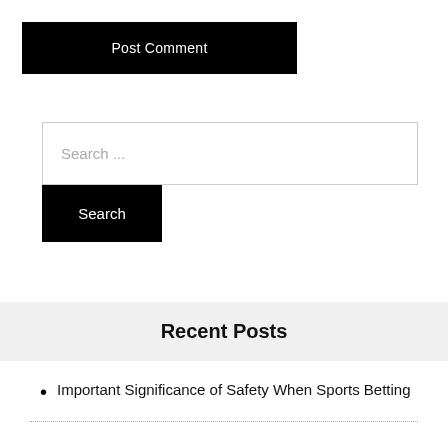Post Comment
Search ...
Search
Recent Posts
Important Significance of Safety When Sports Betting